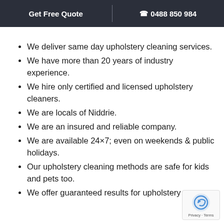Get Free Quote  |  0488 850 984
We deliver same day upholstery cleaning services.
We have more than 20 years of industry experience.
We hire only certified and licensed upholstery cleaners.
We are locals of Niddrie.
We are an insured and reliable company.
We are available 24×7; even on weekends & public holidays.
Our upholstery cleaning methods are safe for kids and pets too.
We offer guaranteed results for upholstery